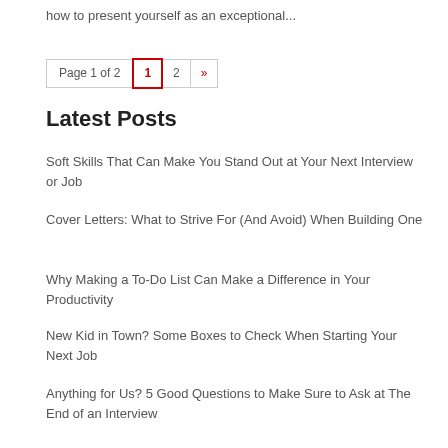how to present yourself as an exceptional...
Page 1 of 2  1  2  »
Latest Posts
Soft Skills That Can Make You Stand Out at Your Next Interview or Job
Cover Letters: What to Strive For (And Avoid) When Building One
Why Making a To-Do List Can Make a Difference in Your Productivity
New Kid in Town? Some Boxes to Check When Starting Your Next Job
Anything for Us? 5 Good Questions to Make Sure to Ask at The End of an Interview